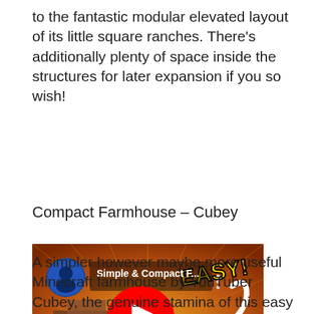to the fantastic modular elevated layout of its little square ranches. There's additionally plenty of space inside the structures for later expansion if you so wish!
Compact Farmhouse – Cubey
[Figure (screenshot): YouTube video thumbnail showing a Minecraft compact farmhouse build with text 'Simple & Compact F...' and 'EASY!' overlay, with a red YouTube play button in the center.]
A simpler however maybe more useful Minecraft farmhouse by YouTuber Cubey, the genuine stamina of this easy and unassuming residence is the